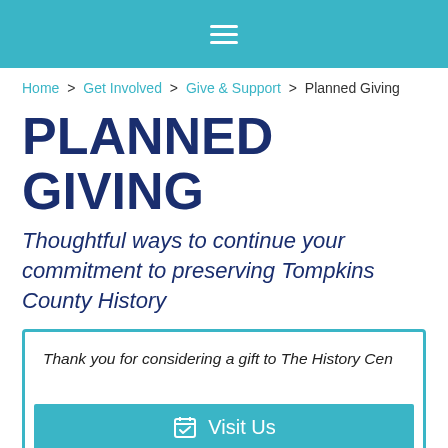≡
Home > Get Involved > Give & Support > Planned Giving
PLANNED GIVING
Thoughtful ways to continue your commitment to preserving Tompkins County History
Thank you for considering a gift to The History Cen... brings your thoughtful planning, vision, and
[Figure (other): Visit Us button with calendar icon overlay]